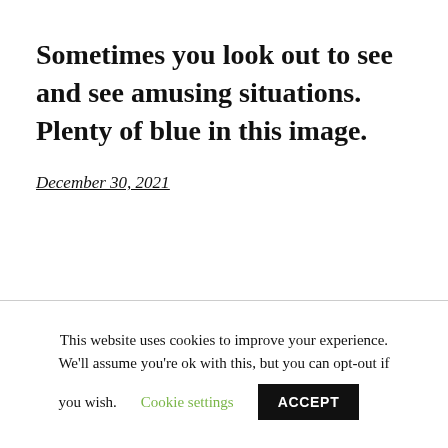Sometimes you look out to see and see amusing situations. Plenty of blue in this image.
December 30, 2021
This website uses cookies to improve your experience. We'll assume you're ok with this, but you can opt-out if you wish. Cookie settings ACCEPT